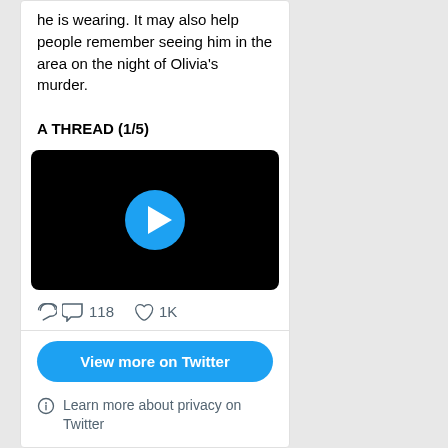he is wearing. It may also help people remember seeing him in the area on the night of Olivia's murder.

A THREAD (1/5)
[Figure (screenshot): Video player with black background and blue circular play button in center]
118  1K
View more on Twitter
Learn more about privacy on Twitter